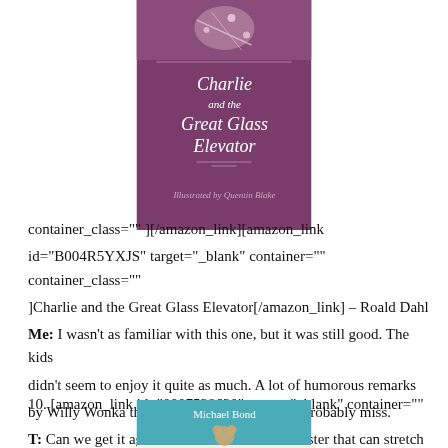[Figure (illustration): Book cover of Charlie and the Great Glass Elevator by Roald Dahl, illustrated by Quentin Blake. Purple/mauve cover with white text and small illustration at top.]
container_class="" ][/amazon_link][amazon_link id="B004R5YXJS" target="_blank" container="" container_class="" ]Charlie and the Great Glass Elevator[/amazon_link] – Roald Dahl
Me: I wasn't as familiar with this one, but it was still good. The kids didn't seem to enjoy it quite as much. A lot of humorous remarks by Willy Wonka that younger children would probably miss.
T: Can we get it again? I liked that gooey monster that can stretch very long and change."
10. [amazon_link id="0007528620" target="_blank" container=""
[Figure (illustration): Book cover of A Bear Called Paddington by Michael Bond. Teal and cream cover with title text in red/brown.]